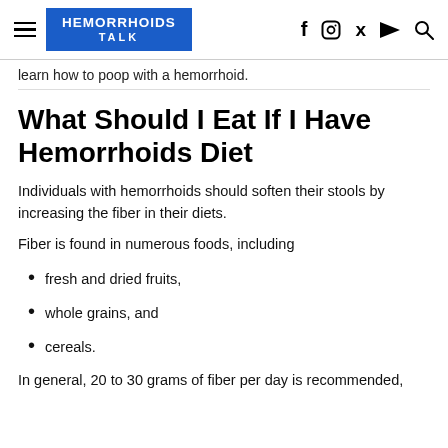HEMORRHOIDS TALK
learn how to poop with a hemorrhoid.
What Should I Eat If I Have Hemorrhoids Diet
Individuals with hemorrhoids should soften their stools by increasing the fiber in their diets.
Fiber is found in numerous foods, including
fresh and dried fruits,
whole grains, and
cereals.
In general, 20 to 30 grams of fiber per day is recommended,